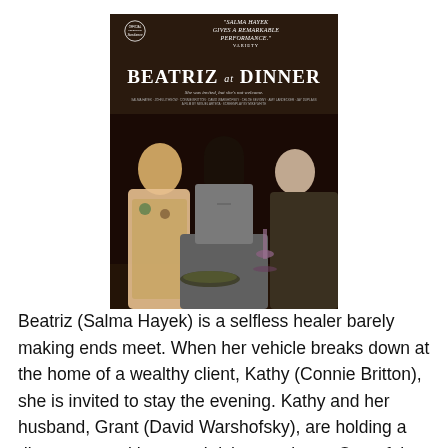[Figure (photo): Movie poster for 'Beatriz at Dinner'. Shows three actors seated at a dinner table — a blonde woman on the left, a dark-haired woman in the center (Salma Hayek), and an older man on the right. The poster includes a quote: 'SALMA HAYEK GIVES A REMARKABLE PERFORMANCE.' — VARIETY, a Sundance laurel, the title 'BEATRIZ AT DINNER' in large white text, tagline 'She was invited, but she's not welcome.']
Beatriz (Salma Hayek) is a selfless healer barely making ends meet. When her vehicle breaks down at the home of a wealthy client, Kathy (Connie Britton), she is invited to stay the evening. Kathy and her husband, Grant (David Warshofsky), are holding a dinner party with several rich associates. One of the guests, Douglas Strutt (John Lithgow) turns out to be as insensitive as he is wealthy,